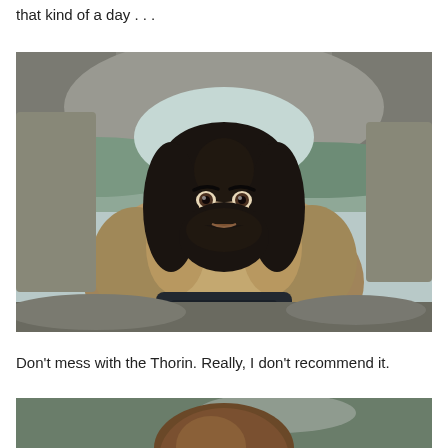that kind of a day . . .
[Figure (photo): A man with long dark hair and a beard wearing a fur-collared coat, standing in front of large rocks with a mountainous landscape in the background. This appears to be Thorin Oakenshield from The Hobbit.]
Don't mess with the Thorin. Really, I don't recommend it.
[Figure (photo): Partial view of another character, showing the top of their head with brown hair, in an outdoor setting.]